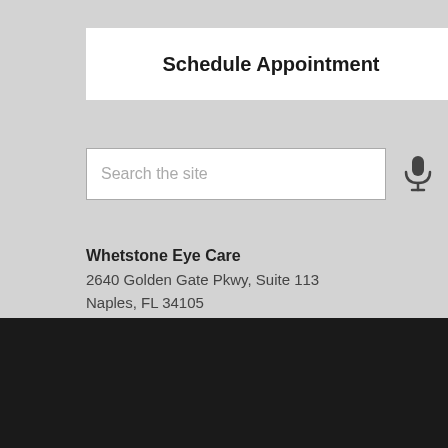[Figure (screenshot): Schedule Appointment button — white rectangular button with bold text]
[Figure (screenshot): Search the site input box with microphone icon]
Whetstone Eye Care
2640 Golden Gate Pkwy, Suite 113
Naples, FL 34105
Phone: 239-908-4098
https://www.whetstoneeyecare.com
Powered by EyeCarePro.com
The materials and articles contained on this website are copyrighted and protected under Title 17 of the United States Code
Sitemap | Email Accessibility | Website Accessibility Policy | Login